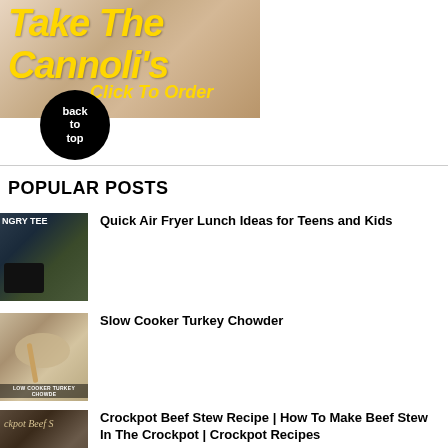[Figure (photo): Cannoli advertisement banner with yellow text 'Take The Cannoli's Click To Order' on a food background, with a black circle 'back to top' button]
POPULAR POSTS
[Figure (photo): Thumbnail for Quick Air Fryer Lunch Ideas for Teens and Kids - showing air fryer and teens]
Quick Air Fryer Lunch Ideas for Teens and Kids
[Figure (photo): Thumbnail for Slow Cooker Turkey Chowder - showing creamy soup with wooden spoon]
Slow Cooker Turkey Chowder
[Figure (photo): Thumbnail for Crockpot Beef Stew Recipe]
Crockpot Beef Stew Recipe | How To Make Beef Stew In The Crockpot | Crockpot Recipes